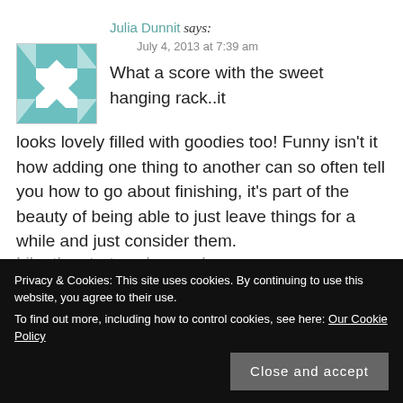Julia Dunnit says:
July 4, 2013 at 7:39 am
[Figure (illustration): Teal and white geometric quilt-pattern avatar image]
What a score with the sweet hanging rack..it looks lovely filled with goodies too! Funny isn't it how adding one thing to another can so often tell you how to go about finishing, it's part of the beauty of being able to just leave things for a while and just consider them.
Like the start you've made on your
Privacy & Cookies: This site uses cookies. By continuing to use this website, you agree to their use.
To find out more, including how to control cookies, see here: Our Cookie Policy
Close and accept
REPLY